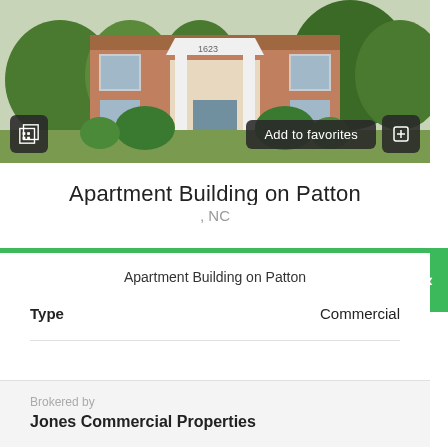[Figure (photo): Exterior photo of a brick apartment building with white columns and steps, surrounded by green bushes and trees]
Apartment Building on Patton
, NC
Apartment Building on Patton
Type  Commercial
Brokered by
Jones Commercial Properties